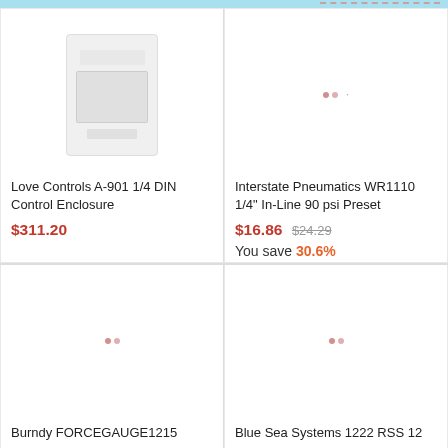[Figure (photo): Love Controls A-901 1/4 DIN Control Enclosure product image - white rectangular enclosure with display window]
Love Controls A-901 1/4 DIN Control Enclosure
$311.20
[Figure (photo): Interstate Pneumatics WR1110 1/4 In-Line 90 psi Preset - loading placeholder]
Interstate Pneumatics WR1110 1/4" In-Line 90 psi Preset
$16.86 $24.29 You save 30.6%
[Figure (photo): Burndy FORCEGAUGE1215 product image - loading placeholder]
Burndy FORCEGAUGE1215
[Figure (photo): Blue Sea Systems 1222 RSS 12 product image - loading placeholder]
Blue Sea Systems 1222 RSS 12